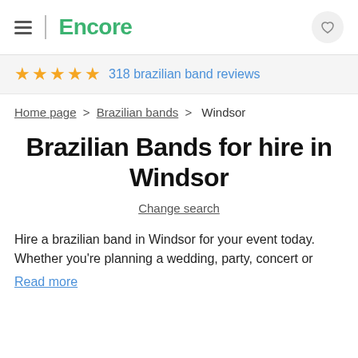Encore
★★★★★ 318 brazilian band reviews
Home page > Brazilian bands > Windsor
Brazilian Bands for hire in Windsor
Change search
Hire a brazilian band in Windsor for your event today. Whether you're planning a wedding, party, concert or
Read more